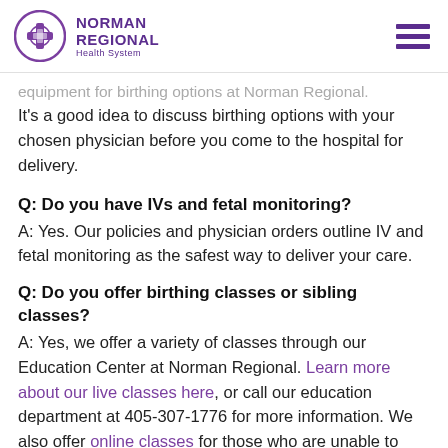Norman Regional Health System
equipment for birthing options at Norman Regional. It's a good idea to discuss birthing options with your chosen physician before you come to the hospital for delivery.
Q: Do you have IVs and fetal monitoring?
A: Yes. Our policies and physician orders outline IV and fetal monitoring as the safest way to deliver your care.
Q: Do you offer birthing classes or sibling classes?
A: Yes, we offer a variety of classes through our Education Center at Norman Regional. Learn more about our live classes here, or call our education department at 405-307-1776 for more information. We also offer online classes for those who are unable to attend class in person.